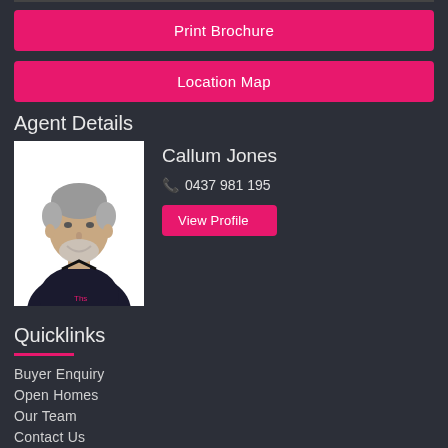Print Brochure
Location Map
Agent Details
[Figure (photo): Headshot photo of Callum Jones, a middle-aged man with grey hair and beard, smiling, wearing a dark polo shirt]
Callum Jones
0437 981 195
View Profile
Quicklinks
Buyer Enquiry
Open Homes
Our Team
Contact Us
Contact Us